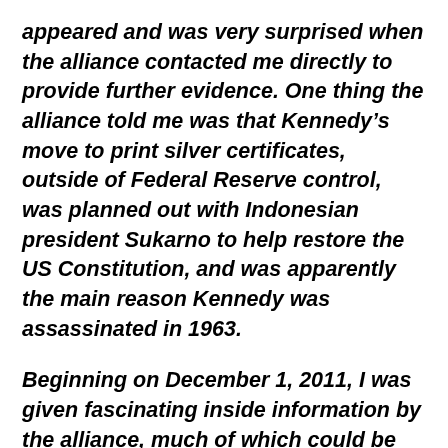appeared and was very surprised when the alliance contacted me directly to provide further evidence. One thing the alliance told me was that Kennedy's move to print silver certificates, outside of Federal Reserve control, was planned out with Indonesian president Sukarno to help restore the US Constitution, and was apparently the main reason Kennedy was assassinated in 1963.
Beginning on December 1, 2011, I was given fascinating inside information by the alliance, much of which could be proven. This included a treasure trove of hundreds of original documents and photographs. The problem was this: Whether or not this story was true, it was considered so dangerous to investigate, so highly classified, and so complicated that no one